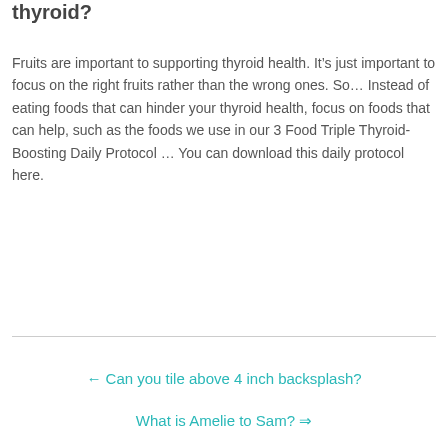thyroid?
Fruits are important to supporting thyroid health. It’s just important to focus on the right fruits rather than the wrong ones. So… Instead of eating foods that can hinder your thyroid health, focus on foods that can help, such as the foods we use in our 3 Food Triple Thyroid-Boosting Daily Protocol … You can download this daily protocol here.
← Can you tile above 4 inch backsplash?
What is Amelie to Sam? ⇒